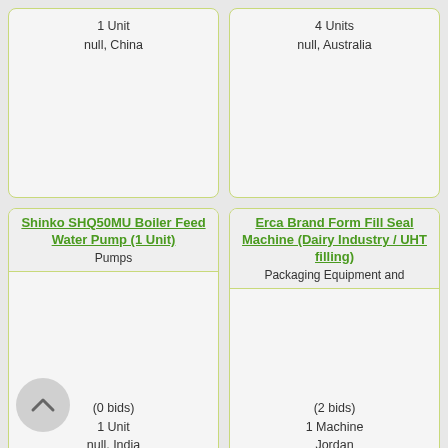1 Unit
null, China
4 Units
null, Australia
Shinko SHQ50MU Boiler Feed Water Pump (1 Unit)
Pumps
(0 bids)
1 Unit
null, India
Erca Brand Form Fill Seal Machine (Dairy Industry / UHT filling)
Packaging Equipment and
(2 bids)
1 Machine
Jordan